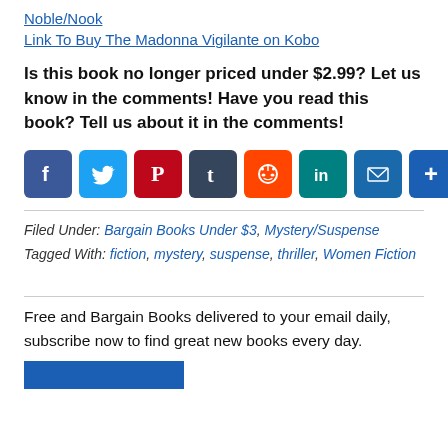Noble/Nook
Link To Buy The Madonna Vigilante on Kobo
Is this book no longer priced under $2.99? Let us know in the comments! Have you read this book? Tell us about it in the comments!
[Figure (infographic): Social sharing icons: Facebook, Twitter, Pinterest, Tumblr, Reddit, LinkedIn, Email, More]
Filed Under: Bargain Books Under $3, Mystery/Suspense
Tagged With: fiction, mystery, suspense, thriller, Women Fiction
Free and Bargain Books delivered to your email daily, subscribe now to find great new books every day.